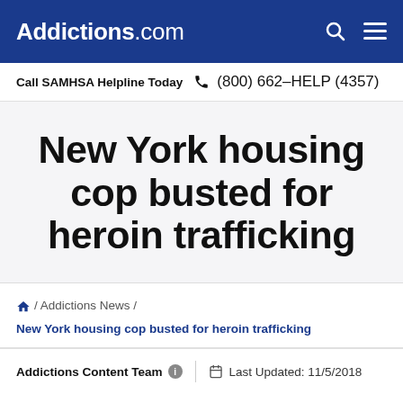Addictions.com
Call SAMHSA Helpline Today  (800) 662-HELP (4357)
New York housing cop busted for heroin trafficking
🏠 / Addictions News / New York housing cop busted for heroin trafficking
Addictions Content Team  ℹ  |  Last Updated: 11/5/2018